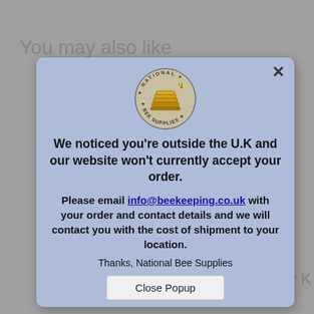[Figure (screenshot): Background webpage with 'You may also like' heading and product price visible behind modal]
[Figure (logo): National Bee Supplies circular logo with beehive illustration]
We noticed you're outside the U.K and our website won't currently accept your order.
Please email info@beekeeping.co.uk with your order and contact details and we will contact you with the cost of shipment to your location.
Thanks, National Bee Supplies
Close Popup